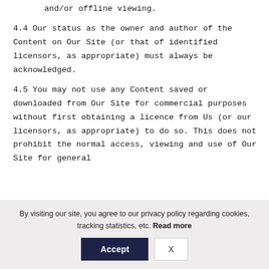and/or offline viewing.
4.4 Our status as the owner and author of the Content on Our Site (or that of identified licensors, as appropriate) must always be acknowledged.
4.5 You may not use any Content saved or downloaded from Our Site for commercial purposes without first obtaining a licence from Us (or our licensors, as appropriate) to do so. This does not prohibit the normal access, viewing and use of Our Site for general
By visiting our site, you agree to our privacy policy regarding cookies, tracking statistics, etc. Read more
Accept
X